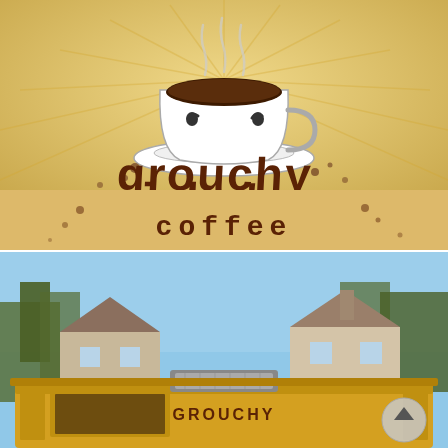[Figure (logo): Grouchy John's Coffee logo: animated grumpy coffee cup with steam on a tan/beige sunburst background, with large hand-lettered brown text reading 'grouchy john's coffee' with coffee splatter effects]
[Figure (photo): Exterior photo of a small yellow coffee kiosk/trailer with 'GROUCHY' visible on signage, surrounded by trees and residential buildings in the background under a clear sky]